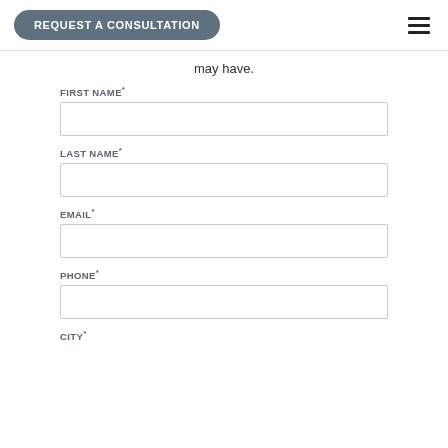REQUEST A CONSULTATION
may have.
FIRST NAME*
LAST NAME*
EMAIL*
PHONE*
CITY*